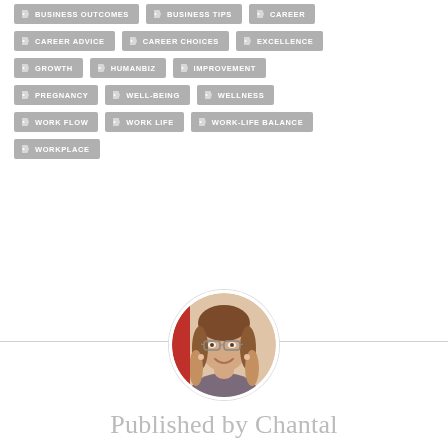BUSINESS OUTCOMES
BUSINESS TIPS
CAREER
CAREER ADVICE
CAREER CHOICES
EXCELLENCE
GROWTH
HUMANBIZ
IMPROVEMENT
PREGNANCY
WELL-BEING
WELLNESS
WORK FLOW
WORK LIFE
WORK-LIFE BALANCE
WORKPLACE
[Figure (photo): Circular profile photo of a woman with glasses and long hair, smiling]
Published by Chantal